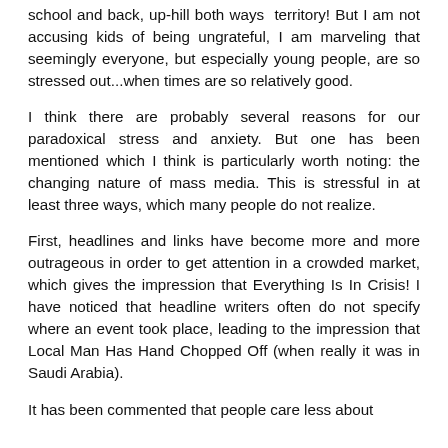school and back, up-hill both ways territory! But I am not accusing kids of being ungrateful, I am marveling that seemingly everyone, but especially young people, are so stressed out...when times are so relatively good.
I think there are probably several reasons for our paradoxical stress and anxiety. But one has been mentioned which I think is particularly worth noting: the changing nature of mass media. This is stressful in at least three ways, which many people do not realize.
First, headlines and links have become more and more outrageous in order to get attention in a crowded market, which gives the impression that Everything Is In Crisis! I have noticed that headline writers often do not specify where an event took place, leading to the impression that Local Man Has Hand Chopped Off (when really it was in Saudi Arabia).
It has been commented that people care less about